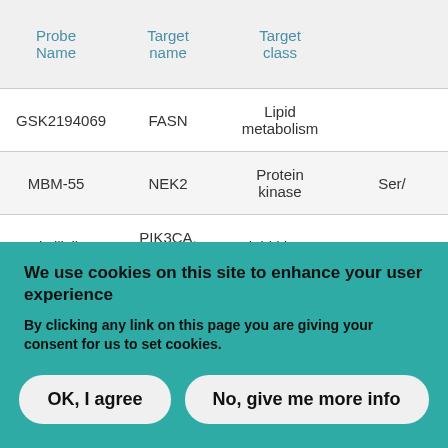| Probe Name | Target name | Target class |  |
| --- | --- | --- | --- |
| GSK2194069 | FASN | Lipid metabolism |  |
| MBM-55 | NEK2 | Protein kinase | Ser/ |
| Pictilisib | PIK3CA, PIK3CD | Lipid kinase |  |
| PI-3065 | PIK3CD | Lipid kinase |  |
We use cookies on this site to enhance your user experience
By clicking any link on this page you are giving your consent for us to set cookies.